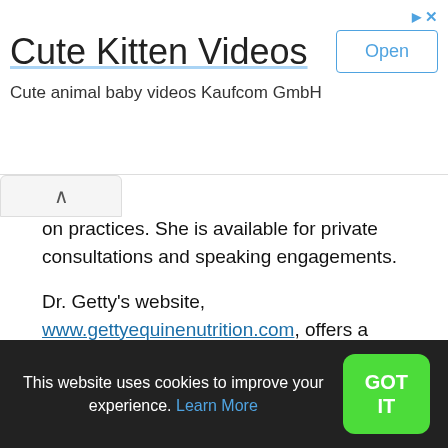[Figure (screenshot): Mobile advertisement banner for 'Cute Kitten Videos' app by Kaufcom GmbH with an 'Open' button and ad icons]
on practices. She is available for private consultations and speaking engagements.
Dr. Getty's website, www.gettyequinenutrition.com, offers a generous stock of free, useful information for the horseperson. Sign up for her free monthly newsletter, Forage for Thought; browse her library of reference articles; shop her online store of recommended supplements; search her nutrition forum; and purchase recordings of her educational teleseminars. All of Dr. Getty's books are also available from Amazon and other online retailers. Reach Dr. Getty directly
This website uses cookies to improve your experience. Learn More